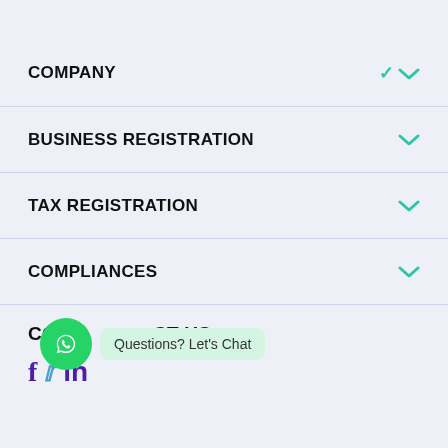COMPANY
BUSINESS REGISTRATION
TAX REGISTRATION
COMPLIANCES
CONTACT US
Questions? Let's Chat
Login